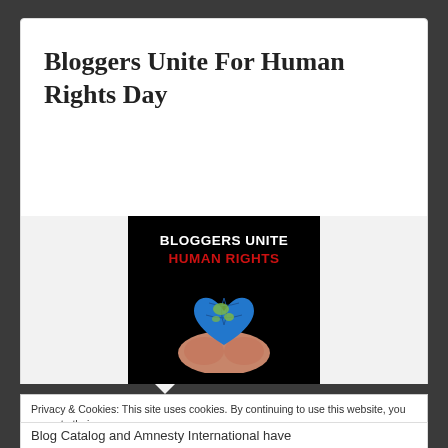Bloggers Unite For Human Rights Day
[Figure (illustration): Bloggers Unite Human Rights promotional image: black background with white bold text 'BLOGGERS UNITE' and red bold text 'HUMAN RIGHTS', with hands holding a heart-shaped globe below]
Privacy & Cookies: This site uses cookies. By continuing to use this website, you agree to their use.
To find out more, including how to control cookies, see here: Cookie Policy
Close and accept
Blog Catalog and Amnesty International have